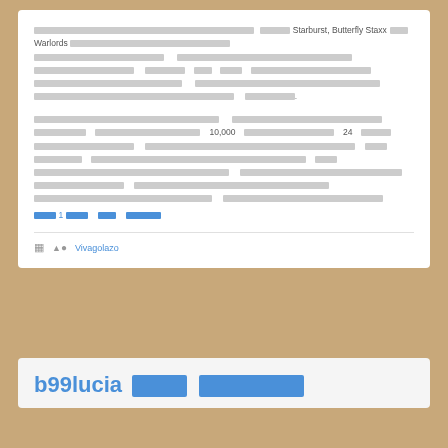[Thai text block 1] Starburst, Butterfly Staxx and Warlords [Thai text continues] [Thai text continues multiple lines ending with period]
[Thai text block 2] 10,000 [Thai] 24 [Thai text continues multiple lines] [blue link: Thai text 1 Thai Thai Thai]
Vivagolazo
b99lucia [Thai text large heading]